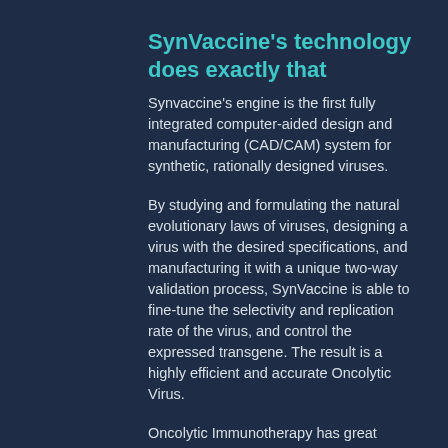SynVaccine's technology does exactly that
Synvaccine's engine is the first fully integrated computer-aided design and manufacturing (CAD/CAM) system for synthetic, rationally designed viruses.
By studying and formulating the natural evolutionary laws of viruses, designing a virus with the desired specifications, and manufacturing it with a unique two-way validation process, SynVaccine is able to fine-tune the selectivity and replication rate of the virus, and control the expressed transgene. The result is a highly efficient and accurate Oncolytic Virus.
Oncolytic Immunotherapy has great promise in the fight against cancer, wanting only for for accuracy. New